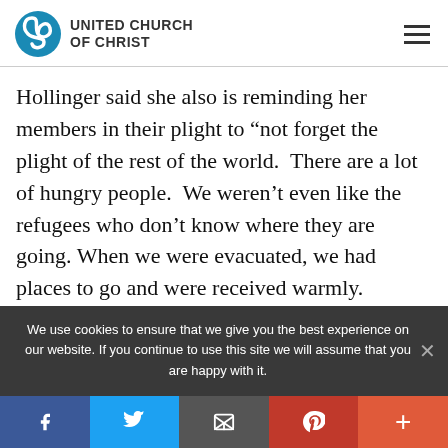[Figure (logo): United Church of Christ logo with spiral icon and text]
Hollinger said she also is reminding her members in their plight to “not forget the plight of the rest of the world. There are a lot of hungry people. We weren’t even like the refugees who don’t know where they are going. When we were evacuated, we had places to go and were received warmly.
We use cookies to ensure that we give you the best experience on our website. If you continue to use this site we will assume that you are happy with it.